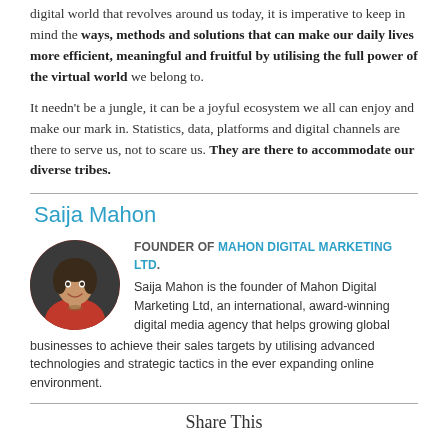digital world that revolves around us today, it is imperative to keep in mind the ways, methods and solutions that can make our daily lives more efficient, meaningful and fruitful by utilising the full power of the virtual world we belong to.
It needn't be a jungle, it can be a joyful ecosystem we all can enjoy and make our mark in. Statistics, data, platforms and digital channels are there to serve us, not to scare us. They are there to accommodate our diverse tribes.
Saija Mahon
[Figure (photo): Circular portrait photo of Saija Mahon, a woman smiling, wearing an orange top, against a dark background.]
FOUNDER OF MAHON DIGITAL MARKETING LTD. Saija Mahon is the founder of Mahon Digital Marketing Ltd, an international, award-winning digital media agency that helps growing global businesses to achieve their sales targets by utilising advanced technologies and strategic tactics in the ever expanding online environment.
Share This